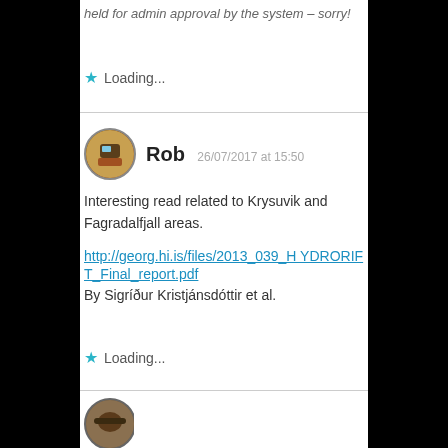held for admin approval by the system – sorry!
Loading...
Rob  26/07/2017 at 15:50
Interesting read related to Krysuvik and Fagradalfjall areas.
http://georg.hi.is/files/2013_039_HYDRORIFT_Final_report.pdf
By Sigríður Kristjánsdóttir et al.
Loading...